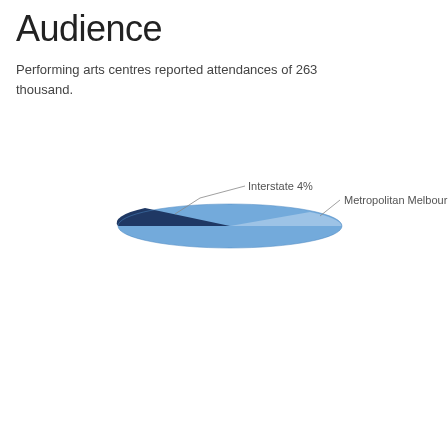Audience
Performing arts centres reported attendances of 263 thousand.
[Figure (pie-chart): ]